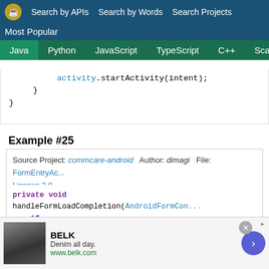Search by APIs  Search by Words  Search Projects  Most Popular  Java  Python  JavaScript  TypeScript  C++  Scala
activity.startActivity(intent);
    }
}
Example #25
Source Project: commcare-android  Author: dimagi  File: FormEntryAc...  License 2.0
private void handleFormLoadCompletion(AndroidFormCon...
    if (GeoUtils.ACTION_CHECK_GPS_ENABLED.equals(loc...
        FormEntryDialogs.handleNoGpsBroadcast(this);
    } else if (PollSensorAction.XPATH_ERROR_ACTION.e...